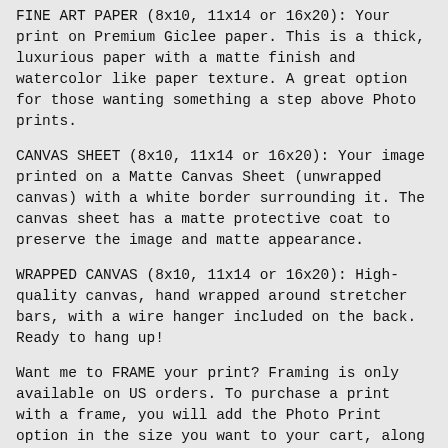FINE ART PAPER (8x10, 11x14 or 16x20): Your print on Premium Giclee paper. This is a thick, luxurious paper with a matte finish and watercolor like paper texture. A great option for those wanting something a step above Photo prints.
CANVAS SHEET (8x10, 11x14 or 16x20): Your image printed on a Matte Canvas Sheet (unwrapped canvas) with a white border surrounding it. The canvas sheet has a matte protective coat to preserve the image and matte appearance.
WRAPPED CANVAS (8x10, 11x14 or 16x20): High-quality canvas, hand wrapped around stretcher bars, with a wire hanger included on the back. Ready to hang up!
Want me to FRAME your print? Framing is only available on US orders. To purchase a print with a frame, you will add the Photo Print option in the size you want to your cart, along with the coordinating frame size below (8x10, 11x14 or 16x20):